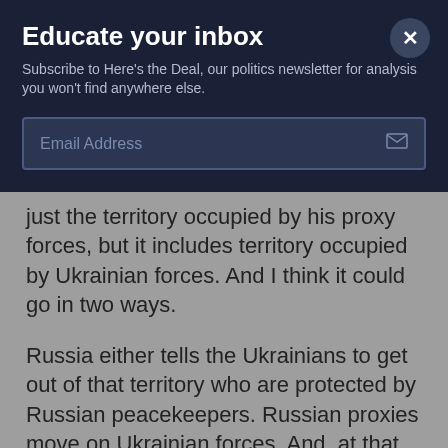Educate your inbox
Subscribe to Here's the Deal, our politics newsletter for analysis you won't find anywhere else.
Email Address
just the territory occupied by his proxy forces, but it includes territory occupied by Ukrainian forces. And I think it could go in two ways.
Russia either tells the Ukrainians to get out of that territory who are protected by Russian peacekeepers. Russian proxies move on Ukrainian forces. And, at that point, Ukraine will have to either back